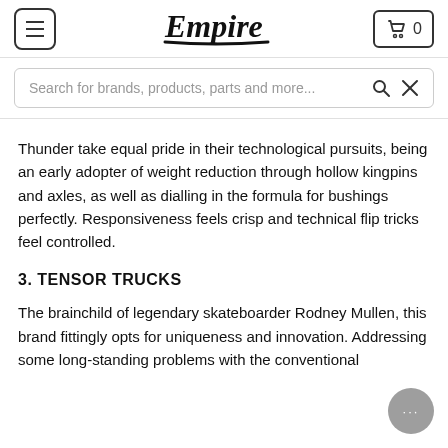Empire — navigation header with menu button, Empire logo, and cart icon showing 0 items
Search for brands, products, parts and more...
Thunder take equal pride in their technological pursuits, being an early adopter of weight reduction through hollow kingpins and axles, as well as dialling in the formula for bushings perfectly. Responsiveness feels crisp and technical flip tricks feel controlled.
3. TENSOR TRUCKS
The brainchild of legendary skateboarder Rodney Mullen, this brand fittingly opts for uniqueness and innovation. Addressing some long-standing problems with the conventional